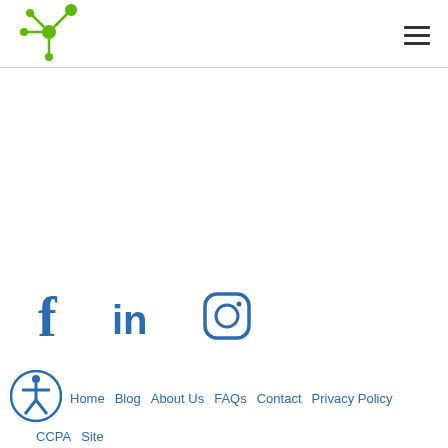[Logo: green network node icon] [Hamburger menu]
[Figure (logo): Green network/node logo with central circle and four extending lines with circles at ends]
[Figure (other): Social media icons: Facebook (f), LinkedIn (in), Instagram (camera outline)]
Home  Blog  About Us  FAQs  Contact  Privacy Policy  CCPA  Site...